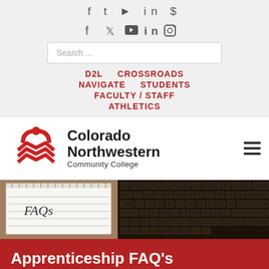f  ✓  ▶  in  ☺
Search ...
D2L
CROSSROADS
NAVIGATE
STUDENTS
FACULTY / STAFF
ATHLETICS
[Figure (logo): Colorado Northwestern Community College logo with red chevron/mountain icon and bold text]
[Figure (photo): Banner image split into two parts: left shows a spiral notebook with 'FAQs' written in handwriting; right shows a laptop keyboard close-up]
Apprenticeship FAQ's